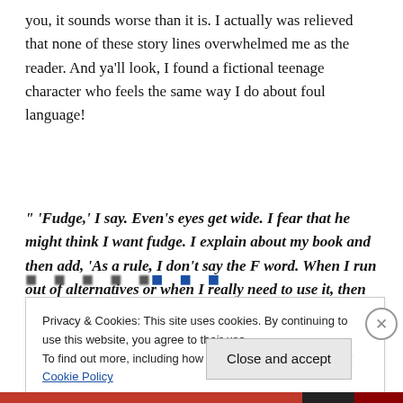you, it sounds worse than it is. I actually was relieved that none of these story lines overwhelmed me as the reader. And ya'll look, I found a fictional teenage character who feels the same way I do about foul language!
" ‘Fudge,’ I say. Even’s eyes get wide. I fear that he might think I want fudge. I explain about my book and then add, ‘As a rule, I don’t say the F word. When I run out of alternatives or when I really need to use it, then maybe it’ll cross my lips, but not until then.’ "
[Figure (other): Partially visible blurred/obscured navigation or pagination bar]
Privacy & Cookies: This site uses cookies. By continuing to use this website, you agree to their use. To find out more, including how to control cookies, see here: Cookie Policy
Close and accept